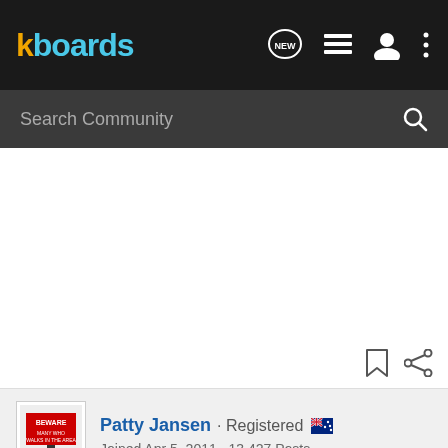kboards
Search Community
[Figure (screenshot): White empty area with bookmark and share icons at bottom right]
Patty Jansen · Registered 🇦🇺
Joined Apr 5, 2011 · 13,427 Posts
#7 · Jun 18, 2011
In variable-width fonts (such as all fonts your computer uses except Courier, which monospace), you can with...